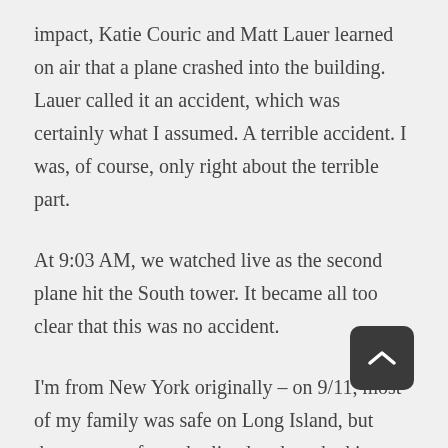impact, Katie Couric and Matt Lauer learned on air that a plane crashed into the building. Lauer called it an accident, which was certainly what I assumed. A terrible accident. I was, of course, only right about the terrible part.
At 9:03 AM, we watched live as the second plane hit the South tower. It became all too clear that this was no accident.
I'm from New York originally – on 9/11, most of my family was safe on Long Island, but there were a few who lived and worked in Manhattan. I tried to call and find out if everyone was okay, but the phone lines were already so jammed that it was impossible to get through. I started hearing my residents gathering nervously in the hall, wondering what was going on. I knew I had to tend to